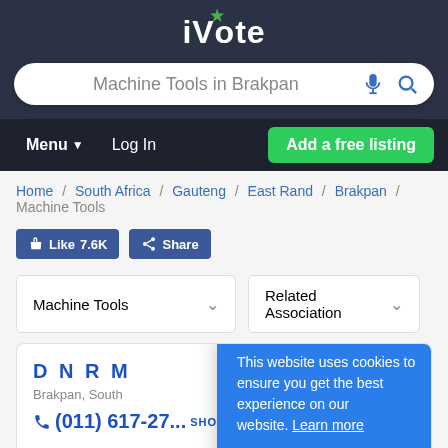iVote
Machine Tools in Brakpan
Menu  Log In  Add a free listing
Home / South Africa / Gauteng / East Rand / Brakpan / Machine Tools
Like 7.6K  Share
Machine Tools  Related Association
D N R M
Brakpan, South
(011) 617-27... SHOW
This website uses cookies to ensure you get the best experience on our website. Learn more
Got it!